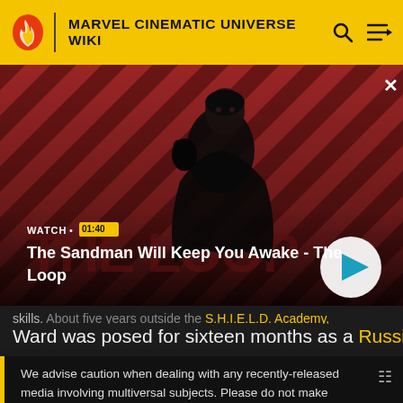MARVEL CINEMATIC UNIVERSE WIKI
[Figure (screenshot): Video thumbnail showing a dark figure with a raven on shoulder against a red and black diagonal striped background. Text overlay: WATCH • 01:40 / The Sandman Will Keep You Awake - The Loop. A circular play button is on the right.]
skills. About five years outside the S.H.I.E.L.D. Academy,
Ward was posed for sixteen months as a Russian attache
We advise caution when dealing with any recently-released media involving multiversal subjects. Please do not make assumptions regarding confusing wording, other sites' speculation, and people's headcanon around the internet.